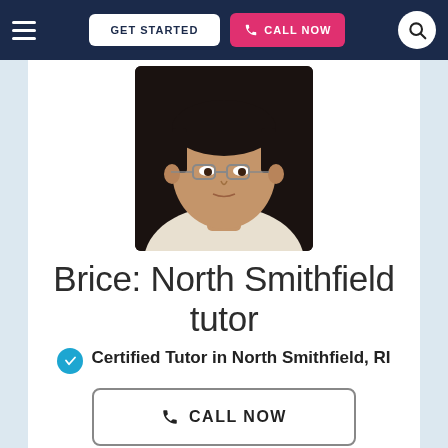GET STARTED | CALL NOW
[Figure (photo): Profile photo of Brice, a tutor from North Smithfield, RI — a young man wearing glasses and a white t-shirt]
Brice: North Smithfield tutor
Certified Tutor in North Smithfield, RI
CALL NOW
GET STARTED